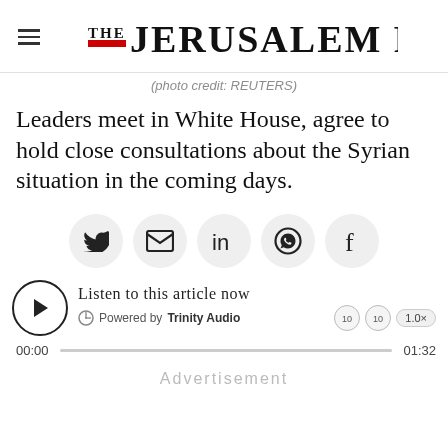THE JERUSALEM POST
(photo credit: REUTERS)
Leaders meet in White House, agree to hold close consultations about the Syrian situation in the coming days.
[Figure (infographic): Social share buttons: Twitter, Email, LinkedIn, WhatsApp, Facebook]
[Figure (infographic): Audio player widget: Listen to this article now, Powered by Trinity Audio, 00:00 / 01:32, 1.0x speed]
Advertisement